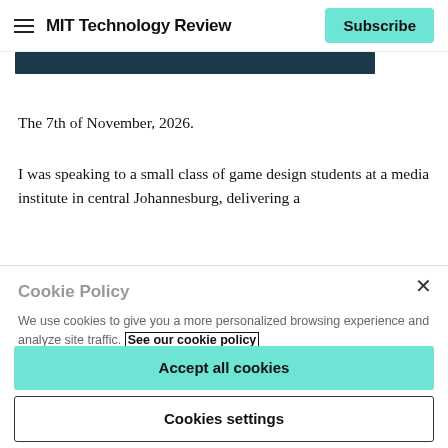MIT Technology Review | Subscribe
[Figure (photo): Dark teal/navy image bar cropped at top]
The 7th of November, 2026.
I was speaking to a small class of game design students at a media institute in central Johannesburg, delivering a
Cookie Policy
We use cookies to give you a more personalized browsing experience and analyze site traffic. See our cookie policy
Accept all cookies
Cookies settings